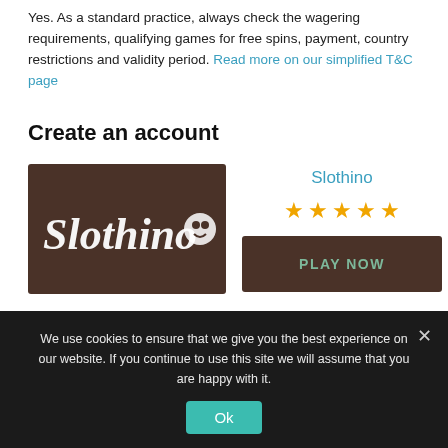Yes. As a standard practice, always check the wagering requirements, qualifying games for free spins, payment, country restrictions and validity period. Read more on our simplified T&C page
Create an account
[Figure (logo): Slothino casino logo on dark brown background with white cursive text]
Slothino
★★★★★ (4.5 stars)
PLAY NOW
We use cookies to ensure that we give you the best experience on our website. If you continue to use this site we will assume that you are happy with it.